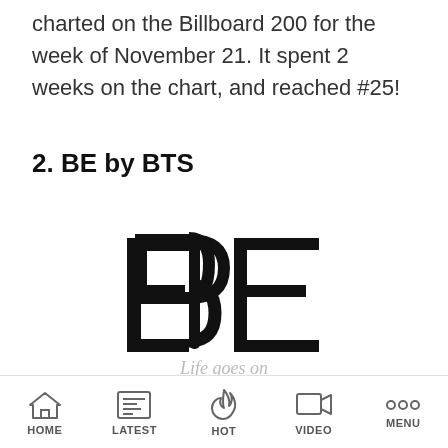charted on the Billboard 200 for the week of November 21. It spent 2 weeks on the chart, and reached #25!
2. BE by BTS
[Figure (logo): BTS BE album logo — large stylized letters 'BE' in bold black outline, with a distinctive mirrored B shape and E with horizontal strokes, and italic cursive tagline text 'Life goes on / Like an arrow in the forest' below in light gray]
HOME   LATEST   HOT   VIDEO   MENU